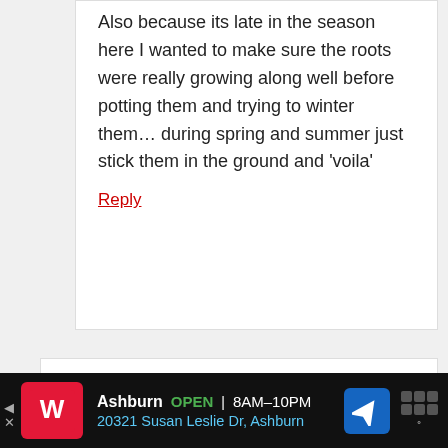Also because its late in the season here I wanted to make sure the roots were really growing along well before potting them and trying to winter them... during spring and summer just stick them in the ground and 'voila'
Reply
[Figure (screenshot): Advertisement banner for Walgreens pharmacy in Ashburn, showing store open hours 8AM-10PM and address 20321 Susan Leslie Dr, Ashburn]